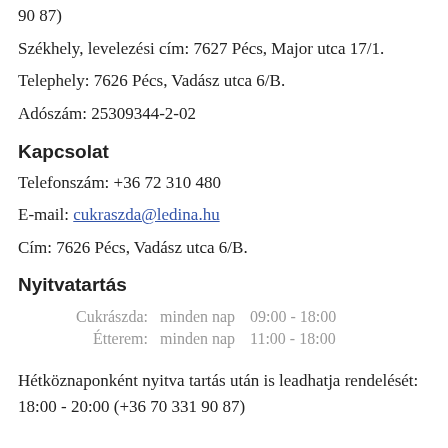90 87)
Székhely, levelezési cím: 7627 Pécs, Major utca 17/1.
Telephely: 7626 Pécs, Vadász utca 6/B.
Adószám: 25309344-2-02
Kapcsolat
Telefonszám: +36 72 310 480
E-mail: cukraszda@ledina.hu
Cím: 7626 Pécs, Vadász utca 6/B.
Nyitvatartás
| Cukrászda: | minden nap | 09:00 - 18:00 |
| Étterem: | minden nap | 11:00 - 18:00 |
Hétköznaponként nyitva tartás után is leadhatja rendelését: 18:00 - 20:00 (+36 70 331 90 87)